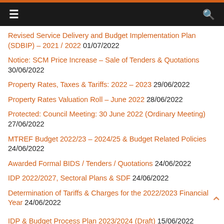≡  🔍
Revised Service Delivery and Budget Implementation Plan (SDBIP) – 2021 / 2022 01/07/2022
Notice: SCM Price Increase – Sale of Tenders & Quotations 30/06/2022
Property Rates, Taxes & Tariffs: 2022 – 2023 29/06/2022
Property Rates Valuation Roll – June 2022 28/06/2022
Protected: Council Meeting: 30 June 2022 (Ordinary Meeting) 27/06/2022
MTREF Budget 2022/23 – 2024/25 & Budget Related Policies 24/06/2022
Awarded Formal BIDS / Tenders / Quotations 24/06/2022
IDP 2022/2027, Sectoral Plans & SDF 24/06/2022
Determination of Tariffs & Charges for the 2022/2023 Financial Year 24/06/2022
IDP & Budget Process Plan 2023/2024 (Draft) 15/06/2022